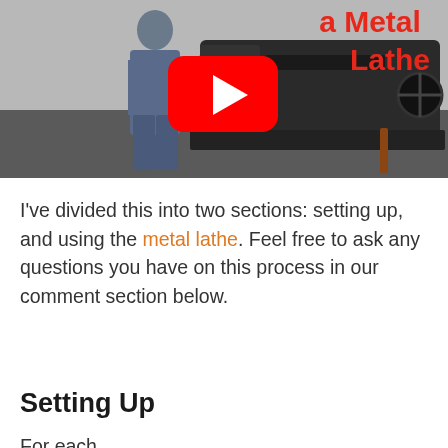[Figure (screenshot): YouTube video thumbnail showing a man standing next to a large metal lathe machine in a workshop. Red text on the right side reads 'a Metal Lathe' with a YouTube play button overlay in the center.]
I've divided this into two sections: setting up, and using the metal lathe. Feel free to ask any questions you have on this process in our comment section below.
Setting Up
For each...